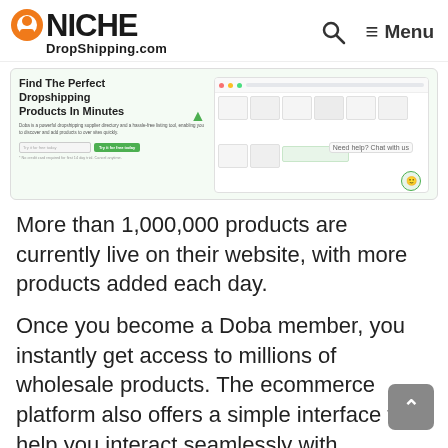NICHE DropShipping.com — Menu
[Figure (screenshot): Screenshot of Doba dropshipping website showing 'Find The Perfect Dropshipping Products In Minutes' headline with product images and search interface]
More than 1,000,000 products are currently live on their website, with more products added each day.
Once you become a Doba member, you instantly get access to millions of wholesale products. The ecommerce platform also offers a simple interface to help you interact seamlessly with suppliers.